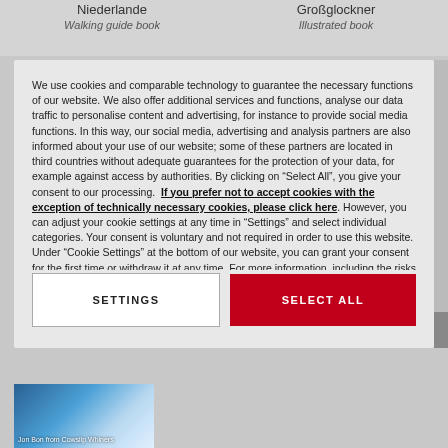Niederlande
Walking guide book
Großglockner
Illustrated book
We use cookies and comparable technology to guarantee the necessary functions of our website. We also offer additional services and functions, analyse our data traffic to personalise content and advertising, for instance to provide social media functions. In this way, our social media, advertising and analysis partners are also informed about your use of our website; some of these partners are located in third countries without adequate guarantees for the protection of your data, for example against access by authorities. By clicking on "Select All", you give your consent to our processing.  If you prefer not to accept cookies with the exception of technically necessary cookies, please click here. However, you can adjust your cookie settings at any time in "Settings" and select individual categories. Your consent is voluntary and not required in order to use this website. Under "Cookie Settings" at the bottom of our website, you can grant your consent for the first time or withdraw it at any time. For more information, including the risks of data transfers to third countries, see our  Privacy Policy
SETTINGS
SELECT ALL